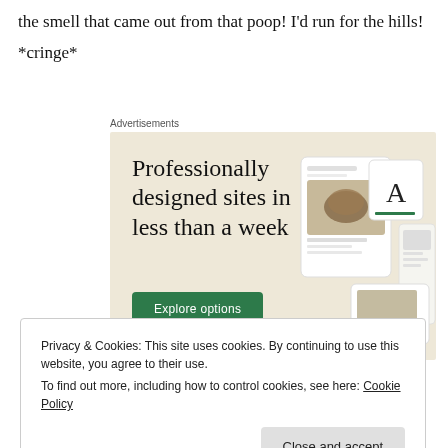the smell that came out from that poop! I'd run for the hills! *cringe*
[Figure (advertisement): Advertisement banner with beige background reading 'Professionally designed sites in less than a week' with a green 'Explore options' button and website mockup screenshots on the right side.]
Privacy & Cookies: This site uses cookies. By continuing to use this website, you agree to their use.
To find out more, including how to control cookies, see here: Cookie Policy
Close and accept